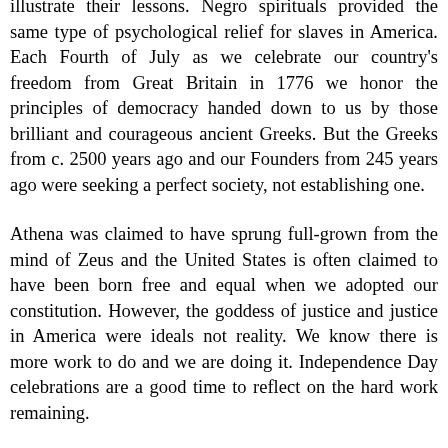illustrate their lessons. Negro spirituals provided the same type of psychological relief for slaves in America. Each Fourth of July as we celebrate our country's freedom from Great Britain in 1776 we honor the principles of democracy handed down to us by those brilliant and courageous ancient Greeks. But the Greeks from c. 2500 years ago and our Founders from 245 years ago were seeking a perfect society, not establishing one.
Athena was claimed to have sprung full-grown from the mind of Zeus and the United States is often claimed to have been born free and equal when we adopted our constitution. However, the goddess of justice and justice in America were ideals not reality. We know there is more work to do and we are doing it. Independence Day celebrations are a good time to reflect on the hard work remaining.